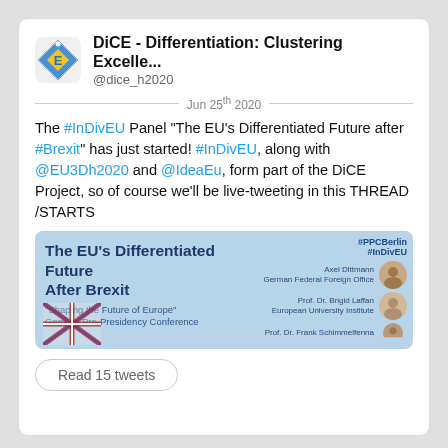DiCE - Differentiation: Clustering Excelle...
@dice_h2020
Jun 25th 2020
The #InDivEU Panel "The EU's Differentiated Future after #Brexit" has just started! #InDivEU, along with @EU3Dh2020 and @IdeaEu, form part of the DiCE Project, so of course we'll be live-tweeting in this THREAD /STARTS
[Figure (screenshot): Conference panel image: 'The EU's Differentiated Future After Brexit', Shaping the Future of Europe German Pre-Presidency Conference, with speaker portraits and hashtags #PPCBerlin #InDivEU]
Read 15 tweets